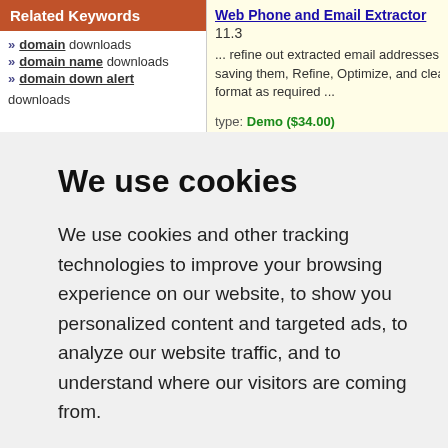Related Keywords
domain downloads
domain name downloads
domain down alert downloads
Web Phone and Email Extractor 11.3 ... refine out extracted email addresses saving them, Refine, Optimize, and clean format as required ... type: Demo ($34.00)
We use cookies
We use cookies and other tracking technologies to improve your browsing experience on our website, to show you personalized content and targeted ads, to analyze our website traffic, and to understand where our visitors are coming from.
I agree   Change my preferences